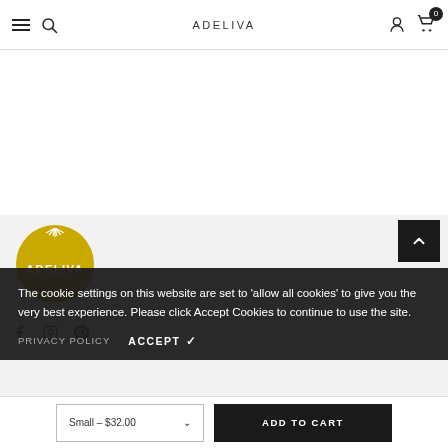ADELIVA – navigation bar with hamburger menu, search, logo, account, and cart (0 items)
[Figure (logo): Adeliva yellow circular logo with sun rays and brand name text]
[Figure (other): Back to top arrow button – dark square with white upward chevron]
Email: cia@adelinas…
[Figure (other): Social media icons: Facebook, Instagram, Pinterest]
The cookie settings on this website are set to 'allow all cookies' to give you the very best experience. Please click Accept Cookies to continue to use the site.
PRIVACY POLICY   ACCEPT ✓
Small - $32.00   ADD TO CART